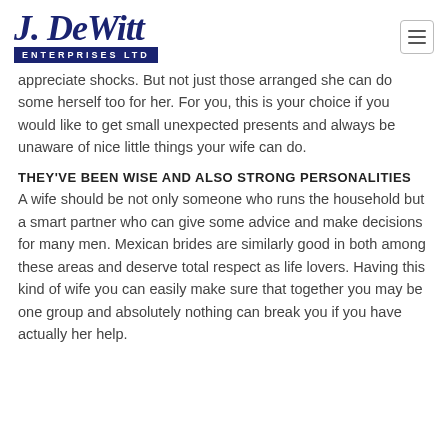[Figure (logo): J. DeWitt Enterprises Ltd logo — cursive script 'J. DeWitt' above a dark navy bar reading 'ENTERPRISES LTD']
appreciate shocks. But not just those arranged she can do some herself too for her. For you, this is your choice if you would like to get small unexpected presents and always be unaware of nice little things your wife can do.
THEY'VE BEEN WISE AND ALSO STRONG PERSONALITIES
A wife should be not only someone who runs the household but a smart partner who can give some advice and make decisions for many men. Mexican brides are similarly good in both among these areas and deserve total respect as life lovers. Having this kind of wife you can easily make sure that together you may be one group and absolutely nothing can break you if you have actually her help.